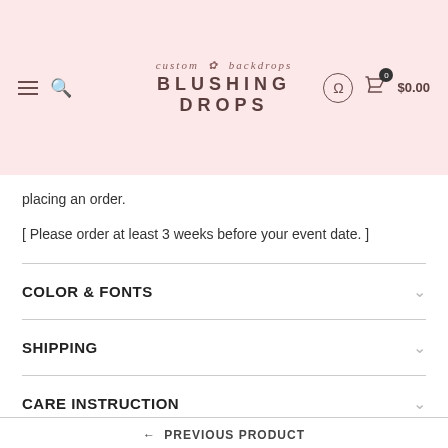custom backdrops BLUSHING DROPS
placing an order.
[ Please order at least 3 weeks before your event date. ]
COLOR & FONTS
SHIPPING
CARE INSTRUCTION
← PREVIOUS PRODUCT